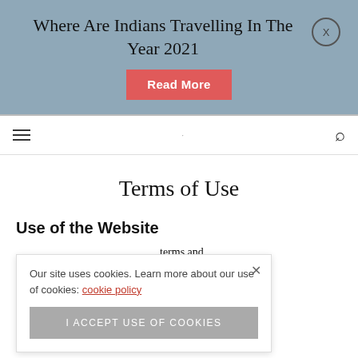Where Are Indians Travelling In The Year 2021
Read More
≡  ·  🔍
Terms of Use
Use of the Website
Our site uses cookies. Learn more about our use of cookies: cookie policy
I ACCEPT USE OF COOKIES
terms and our website, nd that you e to our terms of use of the website, you will not be permitted